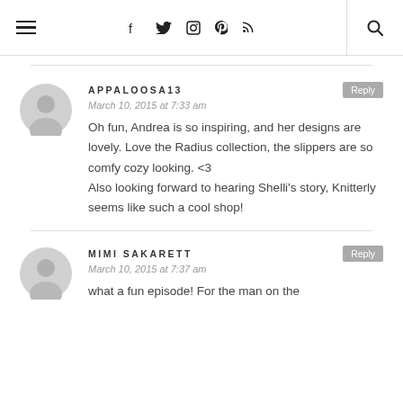Navigation header with menu icon, social icons (facebook, twitter, instagram, pinterest, rss), and search icon
APPALOOSA13
March 10, 2015 at 7:33 am
Oh fun, Andrea is so inspiring, and her designs are lovely. Love the Radius collection, the slippers are so comfy cozy looking. <3
Also looking forward to hearing Shelli's story, Knitterly seems like such a cool shop!
MIMI SAKARETT
March 10, 2015 at 7:37 am
what a fun episode! For the man on the